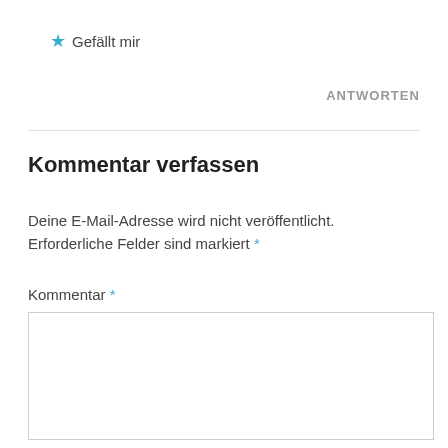★ Gefällt mir
ANTWORTEN
Kommentar verfassen
Deine E-Mail-Adresse wird nicht veröffentlicht. Erforderliche Felder sind markiert *
Kommentar *
[Figure (other): Empty textarea input box for comment]